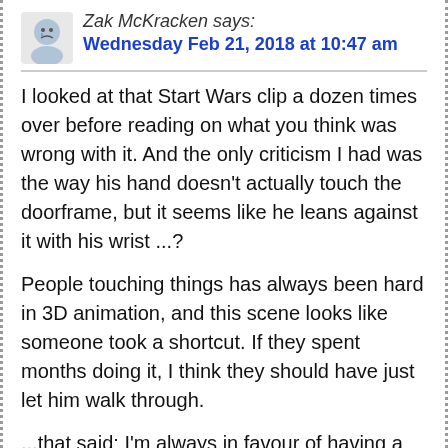Zak McKracken says: Wednesday Feb 21, 2018 at 10:47 am
I looked at that Start Wars clip a dozen times over before reading on what you think was wrong with it. And the only criticism I had was the way his hand doesn't actually touch the doorframe, but it seems like he leans against it with his wrist ...?
People touching things has always been hard in 3D animation, and this scene looks like someone took a shortcut. If they spent months doing it, I think they should have just let him walk through.
...that said: I'm always in favour of having a small devoted team of nerds somewhere in a room working on far out tech stuff that isn't strictly required at the moment. Every once in a while, these people will come up with something you can use in a game, and the rest of the world will be